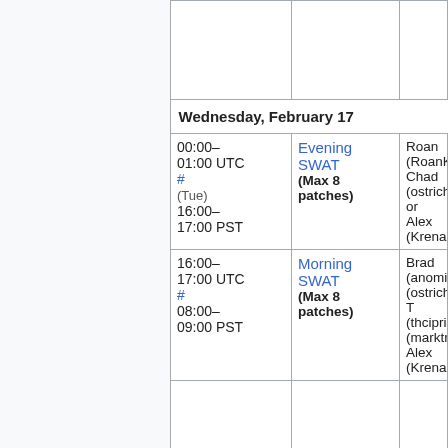| Time | SWAT Type | Names |
| --- | --- | --- |
| (empty) |  |  |
| Wednesday, February 17 |  |  |
| 00:00–01:00 UTC # (Tue) 16:00–17:00 PST | Evening SWAT (Max 8 patches) | Roan (RoanKattouw), Chad (ostriches), or Alex (Krena... |
| 16:00–17:00 UTC # 08:00–09:00 PST | Morning SWAT (Max 8 patches) | Brad (anomie), (ostriches), T... (thcipriani), (marktraceur..., Alex (Krenair... |
| (empty) |  |  |